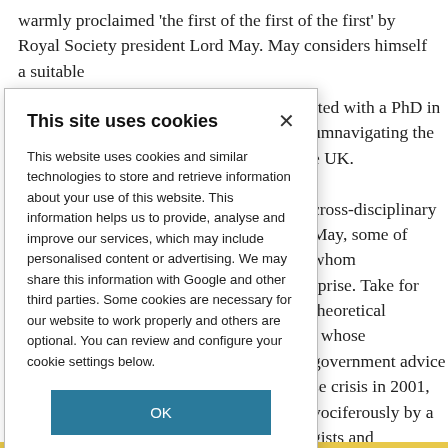warmly proclaimed ‘the first of the first of the first’ by Royal Society president Lord May. May considers himself a suitable
[Figure (screenshot): Cookie consent modal dialog overlay on a webpage. Title: 'This site uses cookies'. Body: 'This website uses cookies and similar technologies to store and retrieve information about your use of this website. This information helps us to provide, analyse and improve our services, which may include personalised content or advertising. We may share this information with Google and other third parties. Some cookies are necessary for our website to work properly and others are optional. You can review and configure your cookie settings below.' With an OK button and COOKIE SETTINGS link.]
rted with a PhD in umnavigating the e UK. cross-disciplinary May, some of whom rprise. Take for theoretical , whose government advice se crisis in 2001, vociferously by a gists and molecular ines, and not